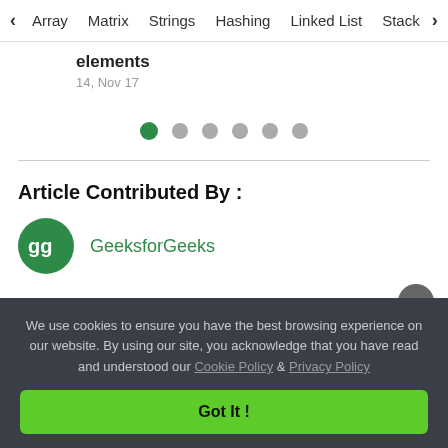< Array  Matrix  Strings  Hashing  Linked List  Stack >
elements
14, Nov 17
[Figure (other): Carousel dot indicators: 6 dots, first one active (green), rest gray]
Article Contributed By :
[Figure (logo): GeeksforGeeks circular logo in green with GG letters]
GeeksforGeeks
We use cookies to ensure you have the best browsing experience on our website. By using our site, you acknowledge that you have read and understood our Cookie Policy & Privacy Policy
Got It !